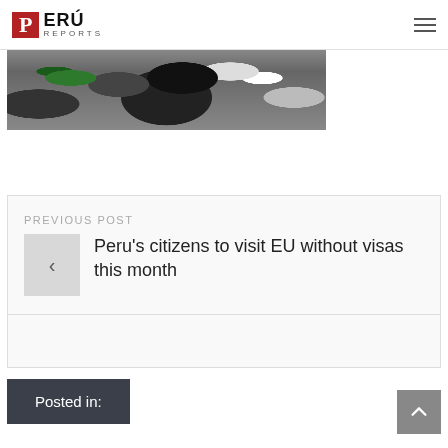PERÚ REPORTS
[Figure (photo): Crowd of people at what appears to be an airport or transit area, seen from above/behind]
PREVIOUS POST
Peru's citizens to visit EU without visas this month
Posted in: